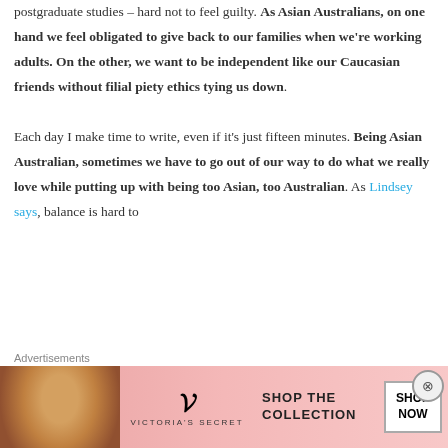postgraduate studies – hard not to feel guilty. As Asian Australians, on one hand we feel obligated to give back to our families when we're working adults. On the other, we want to be independent like our Caucasian friends without filial piety ethics tying us down.

Each day I make time to write, even if it's just fifteen minutes. Being Asian Australian, sometimes we have to go out of our way to do what we really love while putting up with being too Asian, too Australian. As Lindsey says, balance is hard to
[Figure (other): Victoria's Secret advertisement banner with model photo, VS logo, 'SHOP THE COLLECTION' text, and 'SHOP NOW' button]